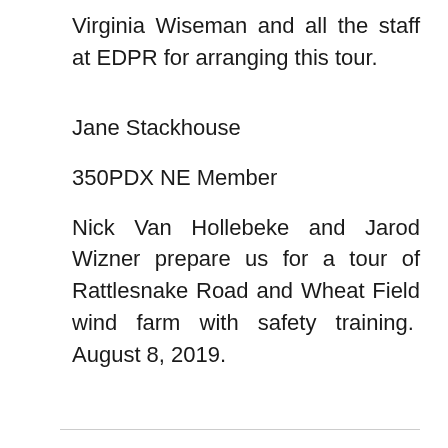Virginia Wiseman and all the staff at EDPR for arranging this tour.
Jane Stackhouse
350PDX NE Member
Nick Van Hollebeke and Jarod Wizner prepare us for a tour of Rattlesnake Road and Wheat Field wind farm with safety training.  August 8, 2019.